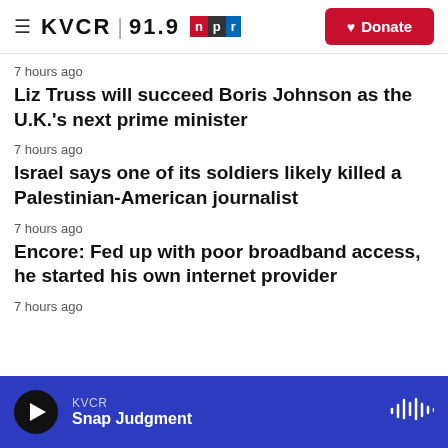KVCR 91.9 npr | Donate
7 hours ago
Liz Truss will succeed Boris Johnson as the U.K.'s next prime minister
7 hours ago
Israel says one of its soldiers likely killed a Palestinian-American journalist
7 hours ago
Encore: Fed up with poor broadband access, he started his own internet provider
7 hours ago
KVCR Snap Judgment